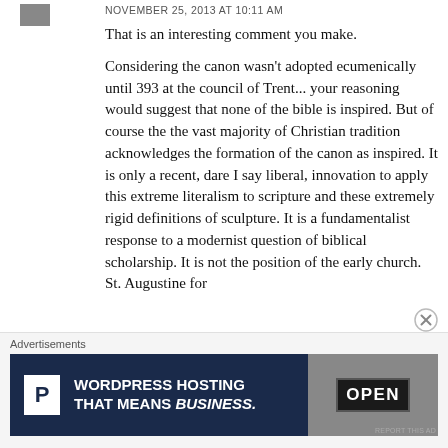NOVEMBER 25, 2013 AT 10:11 AM
That is an interesting comment you make.

Considering the canon wasn't adopted ecumenically until 393 at the council of Trent... your reasoning would suggest that none of the bible is inspired. But of course the the vast majority of Christian tradition acknowledges the formation of the canon as inspired. It is only a recent, dare I say liberal, innovation to apply this extreme literalism to scripture and these extremely rigid definitions of sculpture. It is a fundamentalist response to a modernist question of biblical scholarship. It is not the position of the early church. St. Augustine for
Advertisements
[Figure (screenshot): Advertisement banner for WordPress Hosting with dark navy background, white P logo box on left, bold white text reading 'WORDPRESS HOSTING THAT MEANS BUSINESS.' and a photo of an OPEN sign on the right]